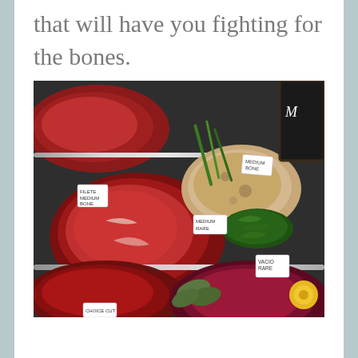that will have you fighting for the bones.
[Figure (photo): A butcher shop display tray with various cuts of raw red meat including steaks and roasts, garnished with fresh herbs (thyme, sage), with price label tags on the cuts. A chalkboard is visible in the upper right corner.]